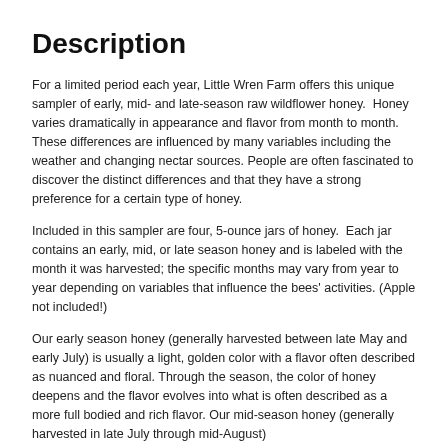Description
For a limited period each year, Little Wren Farm offers this unique sampler of early, mid- and late-season raw wildflower honey.  Honey varies dramatically in appearance and flavor from month to month.  These differences are influenced by many variables including the weather and changing nectar sources. People are often fascinated to discover the distinct differences and that they have a strong preference for a certain type of honey.
Included in this sampler are four, 5-ounce jars of honey.  Each jar contains an early, mid, or late season honey and is labeled with the month it was harvested; the specific months may vary from year to year depending on variables that influence the bees' activities. (Apple not included!)
Our early season honey (generally harvested between late May and early July) is usually a light, golden color with a flavor often described as nuanced and floral. Through the season, the color of honey deepens and the flavor evolves into what is often described as a more full bodied and rich flavor. Our mid-season honey (generally harvested in late July through mid-August)...